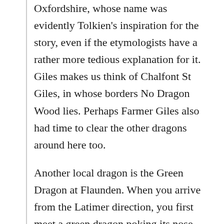Oxfordshire, whose name was evidently Tolkien's inspiration for the story, even if the etymologists have a rather more tedious explanation for it. Giles makes us think of Chalfont St Giles, in whose borders No Dragon Wood lies. Perhaps Farmer Giles also had time to clear the other dragons around here too.
Another local dragon is the Green Dragon at Flaunden. When you arrive from the Latimer direction, you first meet a green dragon poking its nose over the hedge, though it is actually in the garden of the neighbouring house. Or at least it was. Unfortunately it wasn't there when last we passed a few days ago, and the pub itself is still closed for redevelopment, as it has been for over 6